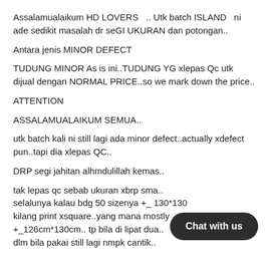Assalamualaikum HD LOVERS  .. Utk batch ISLAND  ni ade sedikit masalah dr seGI UKURAN dan potongan..
Antara jenis MINOR DEFECT
TUDUNG MINOR As is ini..TUDUNG YG xlepas Qc utk dijual dengan NORMAL PRICE..so we mark down the price..
ATTENTION
ASSALAMUALAIKUM SEMUA..
utk batch kali ni still lagi ada minor defect..actually xdefect pun..tapi dia xlepas QC..
DRP segi jahitan alhmdulillah kemas..
tak lepas qc sebab ukuran xbrp sma..
selalunya kalau bdg 50 sizenya +_ 130*130.. kilang print xsquare..yang mana mostly +_126cm*130cm.. tp bila di lipat dua.. dlm bila pakai still lagi nmpk cantik..
[Figure (other): Chat with us button overlay in bottom-right corner]